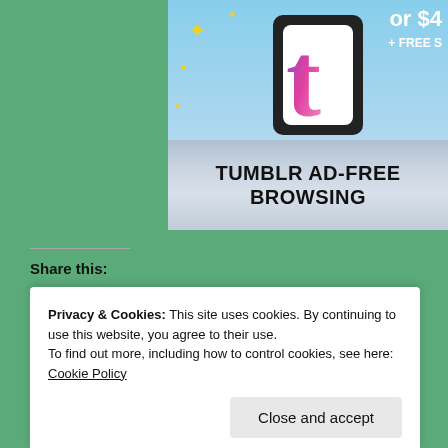[Figure (illustration): Tumblr Ad-Free Browsing advertisement banner showing Tumblr 't' logo with sparkles on sky background, price text 'or $4' and '+ FREE S', with bold text 'TUMBLR AD-FREE BROWSING' at bottom on a grey-blue ribbon.]
Share this:
Twitter | Facebook | Pocket | Pinterest | Tumblr | Reddit
Privacy & Cookies: This site uses cookies. By continuing to use this website, you agree to their use.
To find out more, including how to control cookies, see here: Cookie Policy
Close and accept